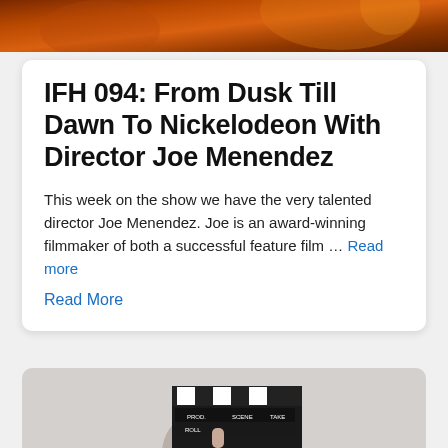[Figure (photo): Top banner image with warm orange and brown tones, partial film-related imagery]
IFH 094: From Dusk Till Dawn To Nickelodeon With Director Joe Menendez
This week on the show we have the very talented director Joe Menendez. Joe is an award-winning filmmaker of both a successful feature film … Read more
Read More
[Figure (photo): Person holding a film clapperboard in front of their face against a light grey background]